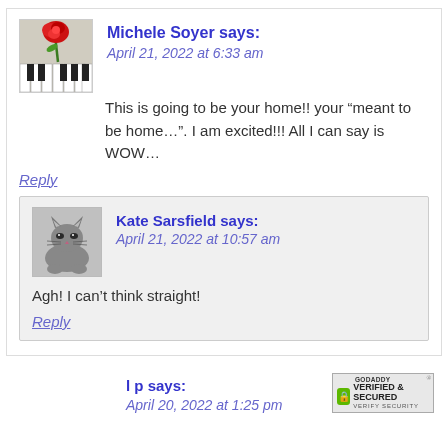Michele Soyer says: April 21, 2022 at 6:33 am
This is going to be your home!! your “meant to be home…”. I am excited!!! All I can say is WOW…
Reply
Kate Sarsfield says: April 21, 2022 at 10:57 am
Agh! I can’t think straight!
Reply
l p says: April 20, 2022 at 1:25 pm
[Figure (logo): GoDaddy Verified & Secured badge]